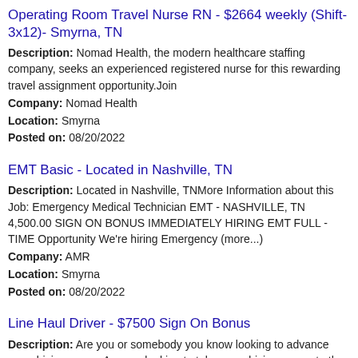Operating Room Travel Nurse RN - $2664 weekly (Shift-3x12)- Smyrna, TN
Description: Nomad Health, the modern healthcare staffing company, seeks an experienced registered nurse for this rewarding travel assignment opportunity.Join Company: Nomad Health Location: Smyrna Posted on: 08/20/2022
EMT Basic - Located in Nashville, TN
Description: Located in Nashville, TNMore Information about this Job: Emergency Medical Technician EMT - NASHVILLE, TN 4,500.00 SIGN ON BONUS IMMEDIATELY HIRING EMT FULL - TIME Opportunity We're hiring Emergency (more...) Company: AMR Location: Smyrna Posted on: 08/20/2022
Line Haul Driver - $7500 Sign On Bonus
Description: Are you or somebody you know looking to advance your driving career Are you looking to take your driving career to the next level We have a...